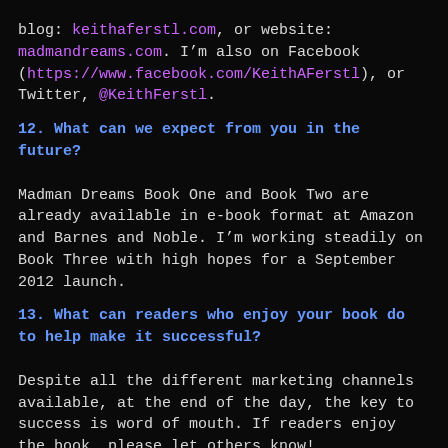blog: keithaferstl.com, or website: madmandreams.com. I'm also on Facebook (https://www.facebook.com/KeithAFerstl), or Twitter, @KeithFerstl.
12. What can we expect from you in the future?
Madman Dreams Book One and Book Two are already available in e-book format at Amazon and Barnes and Noble. I'm working steadily on Book Three with high hopes for a September 2012 launch.
13. What can readers who enjoy your book do to help make it successful?
Despite all the different marketing channels available, at the end of the day, the key to success is word of mouth. If readers enjoy the book, please let others know!